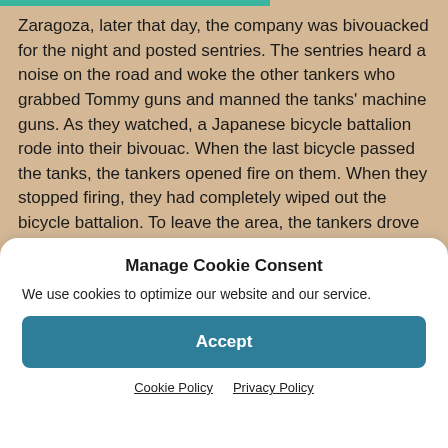Zaragoza, later that day, the company was bivouacked for the night and posted sentries. The sentries heard a noise on the road and woke the other tankers who grabbed Tommy guns and manned the tanks' machine guns. As they watched, a Japanese bicycle battalion rode into their bivouac. When the last bicycle passed the tanks, the tankers opened fire on them. When they stopped firing, they had completely wiped out the bicycle battalion. To leave the area, the tankers drove their tanks over the bodies.
Manage Cookie Consent
We use cookies to optimize our website and our service.
Accept
Cookie Policy   Privacy Policy